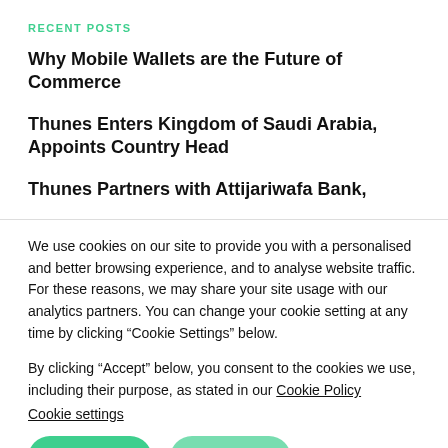RECENT POSTS
Why Mobile Wallets are the Future of Commerce
Thunes Enters Kingdom of Saudi Arabia, Appoints Country Head
Thunes Partners with Attijariwafa Bank,
We use cookies on our site to provide you with a personalised and better browsing experience, and to analyse website traffic. For these reasons, we may share your site usage with our analytics partners. You can change your cookie setting at any time by clicking “Cookie Settings” below.
By clicking “Accept” below, you consent to the cookies we use, including their purpose, as stated in our Cookie Policy
Cookie settings
ACCEPT
REJECT